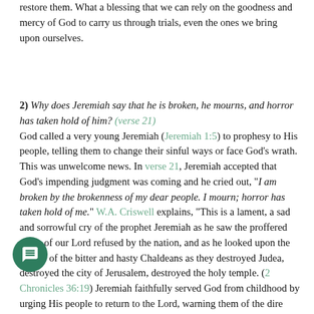restore them. What a blessing that we can rely on the goodness and mercy of God to carry us through trials, even the ones we bring upon ourselves.
2) Why does Jeremiah say that he is broken, he mourns, and horror has taken hold of him? (verse 21) God called a very young Jeremiah (Jeremiah 1:5) to prophesy to His people, telling them to change their sinful ways or face God's wrath. This was unwelcome news. In verse 21, Jeremiah accepted that God's impending judgment was coming and he cried out, "I am broken by the brokenness of my dear people. I mourn; horror has taken hold of me." W.A. Criswell explains, "This is a lament, a sad and sorrowful cry of the prophet Jeremiah as he saw the proffered grace of our Lord refused by the nation, and as he looked upon the armies of the bitter and hasty Chaldeans as they destroyed Judea, destroyed the city of Jerusalem, destroyed the holy temple. (2 Chronicles 36:19) Jeremiah faithfully served God from childhood by urging His people to return to the Lord, warning them of the dire consequences of rejecting God, and it broke his heart to watch his people choose their own destruction. Alyssa Roat tells us Jeremiah was known as the "weeping prophet" and he "lived at a truly terrible time in